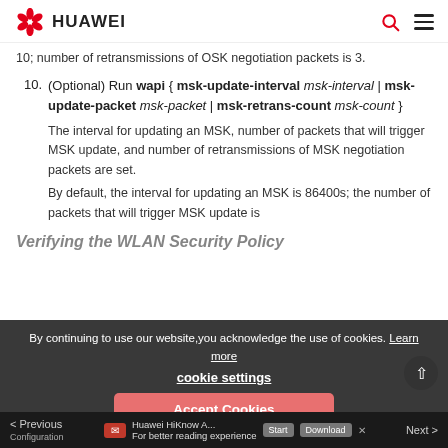HUAWEI
10; number of retransmissions of OSK negotiation packets is 3.
10. (Optional) Run wapi { msk-update-interval msk-interval | msk-update-packet msk-packet | msk-retrans-count msk-count }
The interval for updating an MSK, number of packets that will trigger MSK update, and number of retransmissions of MSK negotiation packets are set.
By default, the interval for updating an MSK is 86400s; the number of packets that will trigger MSK update is 10; number of retransmissions of MSK negotiation packets is 3.
Verifying the WLAN Security Policy
By continuing to use our website,you acknowledge the use of cookies. Learn more
cookie settings
Accept Cookies
Reject Cookies
Previous  Configuration  Next